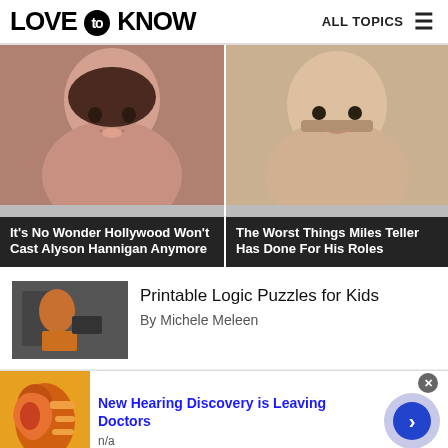LOVE to KNOW — ALL TOPICS
[Figure (photo): Photo of Alyson Hannigan, a woman with dark hair smiling]
It's No Wonder Hollywood Won't Cast Alyson Hannigan Anymore
[Figure (photo): Photo of Miles Teller, a man with a mustache]
The Worst Things Miles Teller Has Done For His Roles
[Figure (photo): Photo of a child doing a puzzle activity]
Printable Logic Puzzles for Kids
By Michele Meleen
[Figure (illustration): Illustration of an ear (hearing advertisement image)]
New Hearing Discovery is Leaving Doctors
n/a